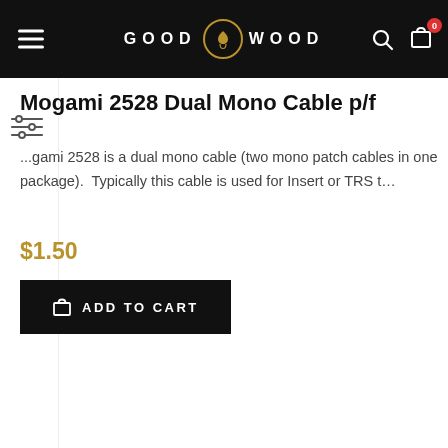GOOD WOOD
Mogami 2528 Dual Mono Cable p/f
...gami 2528 is a dual mono cable (two mono patch cables in one package).  Typically this cable is used for Insert or TRS t...
$1.50
ADD TO CART